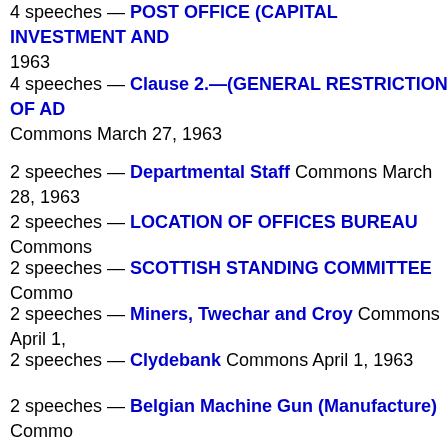4 speeches — POST OFFICE (CAPITAL INVESTMENT AND... 1963
4 speeches — Clause 2.—(GENERAL RESTRICTION OF AD... Commons March 27, 1963
2 speeches — Departmental Staff Commons March 28, 1963
2 speeches — LOCATION OF OFFICES BUREAU Commons
2 speeches — SCOTTISH STANDING COMMITTEE Commons
2 speeches — Miners, Twechar and Croy Commons April 1,
2 speeches — Clydebank Commons April 1, 1963
2 speeches — Belgian Machine Gun (Manufacture) Commons
Cumbernauld New Town Commons April 3, 1963
15 speeches — 29. AMENDMENT OF THE LAW Commons A
4 speeches — BUDGET RESOLUTIONS AND ECONOMIC S